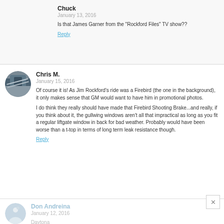Chuck
January 13, 2016
Is that James Garner from the "Rockford Files" TV show??
Reply
Chris M.
January 15, 2016
Of course it is! As Jim Rockford's ride was a Firebird (the one in the background), it only makes sense that GM would want to have him in promotional photos.

I do think they really should have made that Firebird Shooting Brake...and really, if you think about it, the gullwing windows aren't all that impractical as long as you fit a regular liftgate window in back for bad weather. Probably would have been worse than a t-top in terms of long term leak resistance though.
Reply
Don Andreina
January 12, 2016
Daytona